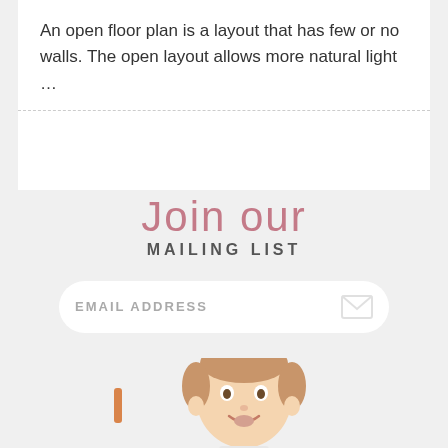An open floor plan is a layout that has few or no walls. The open layout allows more natural light ...
Join our MAILING LIST
EMAIL ADDRESS
[Figure (photo): A smiling toddler/baby with light reddish-brown hair, photographed from the shoulders up against a white background, with a small orange element partially visible on the left side.]